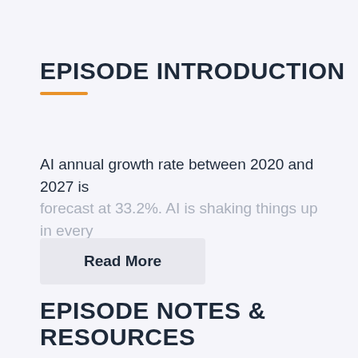EPISODE INTRODUCTION
AI annual growth rate between 2020 and 2027 is forecast at 33.2%. AI is shaking things up in every
Read More
EPISODE NOTES & RESOURCES